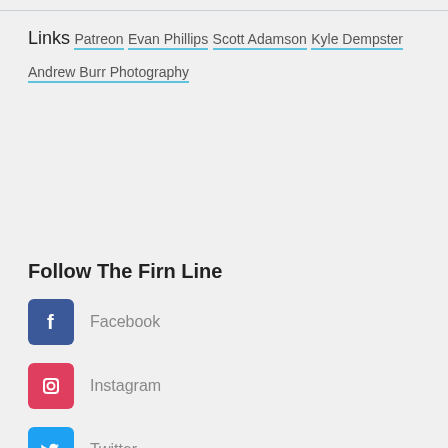Links
Patreon
Evan Phillips
Scott Adamson
Kyle Dempster
Andrew Burr Photography
Follow The Firn Line
Facebook
Instagram
Twitter